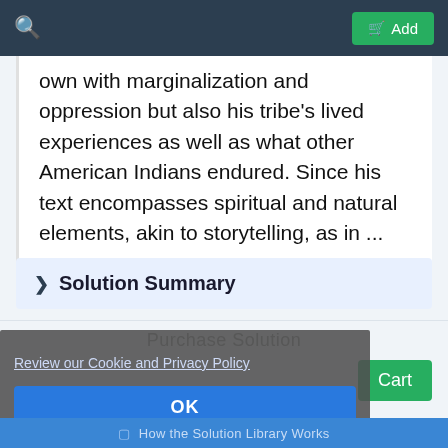Add
own with marginalization and oppression but also his tribe's lived experiences as well as what other American Indians endured. Since his text encompasses spiritual and natural elements, akin to storytelling, as in ...
Solution Summary
Review our Cookie and Privacy Policy
OK
How the Solution Library Works